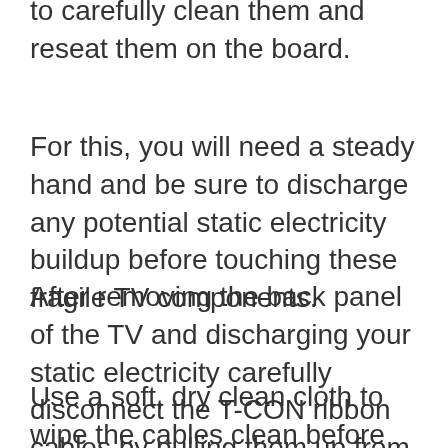to carefully clean them and reseat them on the board.
For this, you will need a steady hand and be sure to discharge any potential static electricity buildup before touching these fragile TV components.
After removing the back panel of the TV and discharging your static electricity carefully disconnect the T-CON ribbon cables by pulling them up from where connected to the electrical board.
Use a soft, dry clean cloth to wipe the cables clean before securely reconnecting them to the board.